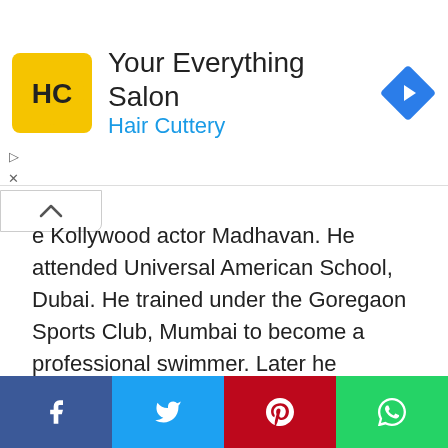[Figure (infographic): Hair Cuttery advertisement banner with yellow logo showing HC letters, title 'Your Everything Salon', subtitle 'Hair Cuttery' in blue, and a blue navigation diamond icon on the right]
e Kollywood actor Madhavan. He attended Universal American School, Dubai. He trained under the Goregaon Sports Club, Mumbai to become a professional swimmer. Later he participated in many national-level competitions with professional swimmers like Kapil Shetty. The international swimmer follows vegetarian diet.
[Figure (infographic): Social share bar with four buttons: Facebook (blue), Twitter (light blue), Pinterest (red), WhatsApp (green)]